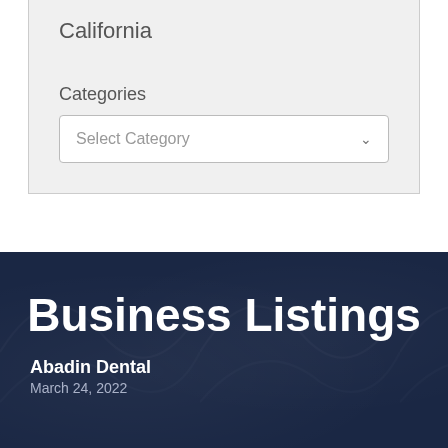California
Categories
Select Category
Business Listings
Abadin Dental
March 24, 2022